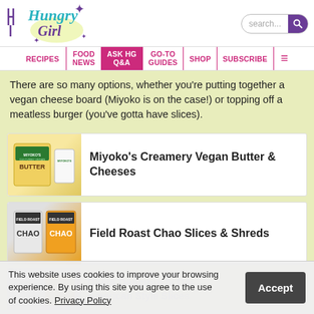Hungry Girl — navigation: RECIPES | FOOD NEWS | ASK HG Q&A | GO-TO GUIDES | SHOP | SUBSCRIBE
There are so many options, whether you're putting together a vegan cheese board (Miyoko is on the case!) or topping off a meatless burger (you've gotta have slices).
[Figure (photo): Miyoko's Creamery product photo showing butter and cheese packaging]
Miyoko's Creamery Vegan Butter & Cheeses
[Figure (photo): Field Roast Chao Slices & Shreds product packaging photo]
Field Roast Chao Slices & Shreds
[Figure (photo): Daiya Deliciously Dairy Free American Style Slices product photo (partially obscured by cookie banner)]
Daiya Deliciously Dairy Free American Style Slices
This website uses cookies to improve your browsing experience. By using this site you agree to the use of cookies. Privacy Policy